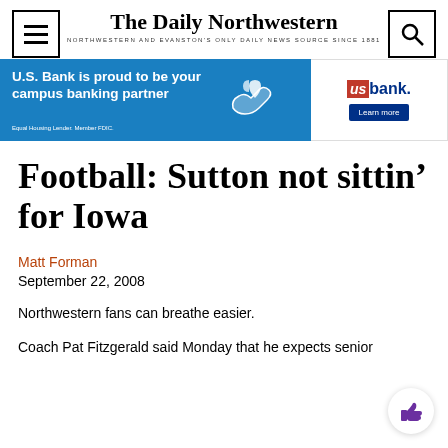The Daily Northwestern — NORTHWESTERN AND EVANSTON'S ONLY DAILY NEWS SOURCE SINCE 1881
[Figure (infographic): U.S. Bank advertisement banner: 'U.S. Bank is proud to be your campus banking partner' on blue background with hand/heart icon, and US Bank logo with 'Learn more' button on white background]
Football: Sutton not sittin' for Iowa
Matt Forman
September 22, 2008
Northwestern fans can breathe easier.
Coach Pat Fitzgerald said Monday that he expects senior